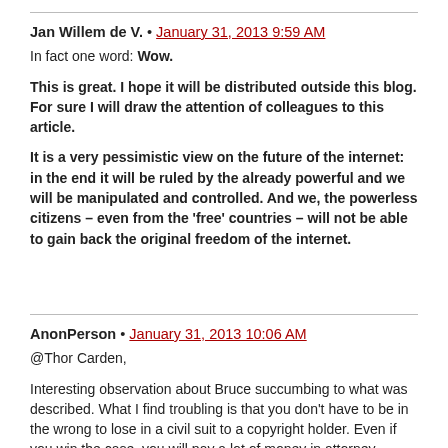Jan Willem de V. • January 31, 2013 9:59 AM
In fact one word: Wow.

This is great. I hope it will be distributed outside this blog. For sure I will draw the attention of colleagues to this article.

It is a very pessimistic view on the future of the internet: in the end it will be ruled by the already powerful and we will be manipulated and controlled. And we, the powerless citizens – even from the 'free' countries – will not be able to gain back the original freedom of the internet.
AnonPerson • January 31, 2013 10:06 AM
@Thor Carden,

Interesting observation about Bruce succumbing to what was described. What I find troubling is that you don't have to be in the wrong to lose in a civil suit to a copyright holder. Even if you win the case, you will pay a lot of money in attorney